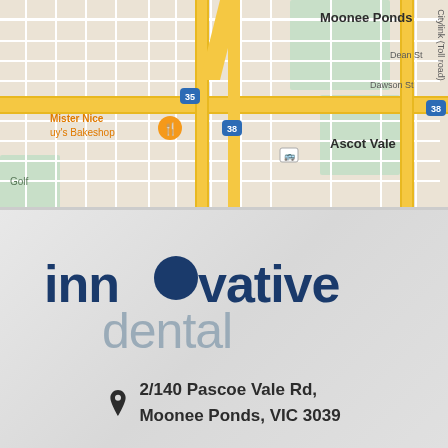[Figure (map): Google Maps screenshot showing Moonee Ponds and Ascot Vale area in Melbourne, Australia. Shows street grid, Citylink (Toll road) on the right, highway markers 35 and 38, Mister Nice Guy's Bakeshop marked with an orange fork icon, and green park areas.]
[Figure (logo): Innovative Dental logo: 'innovative' in dark navy bold text with a filled dark navy circle replacing the 'o', and 'dental' in light grey/steel color below aligned to the right.]
2/140 Pascoe Vale Rd, Moonee Ponds, VIC 3039